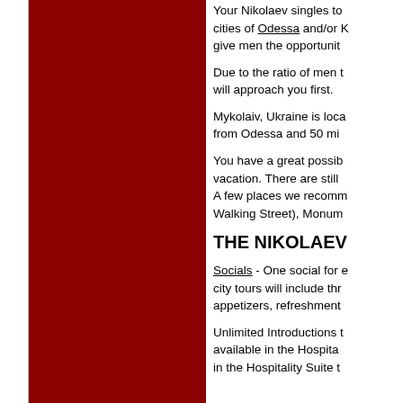[Figure (photo): Dark red/maroon colored rectangular block filling the left portion of the page layout]
Your Nikolaev singles to cities of Odessa and/or K give men the opportunity
Due to the ratio of men will approach you first.
Mykolaiv, Ukraine is loca from Odessa and 50 mi
You have a great possib vacation. There are still A few places we recomm Walking Street), Monum
THE NIKOLAEV
Socials - One social for e city tours will include thr appetizers, refreshment
Unlimited Introductions available in the Hospita in the Hospitality Suite t